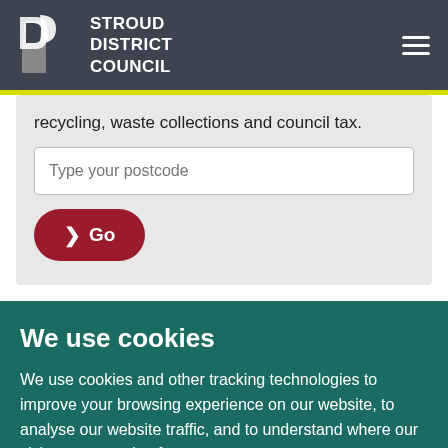[Figure (logo): Stroud District Council logo with building icon and white text]
recycling, waste collections and council tax.
Type your postcode
▶ Go
We use cookies
We use cookies and other tracking technologies to improve your browsing experience on our website, to analyse our website traffic, and to understand where our visitors are coming from.
I agree